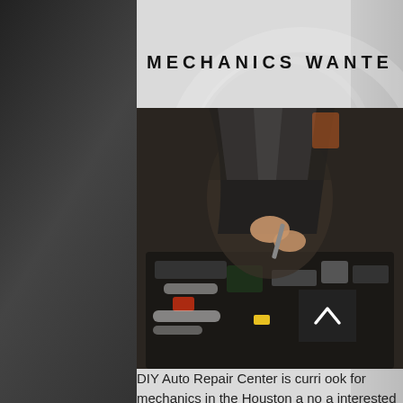MECHANICS WANTED
[Figure (photo): A mechanic working on a car engine, viewed from above, hands visible working on engine components. Dark industrial setting.]
DIY Auto Repair Center is currently looking for mechanics in the Houston area who are interested in owning their own business and being their own boss.  We can provide facilities that will allow you to complete minor and major auto repairs.  You choose your hours